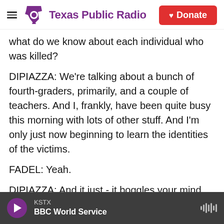Texas Public Radio | Donate
what do we know about each individual who was killed?
DIPIAZZA: We're talking about a bunch of fourth-graders, primarily, and a couple of teachers. And I, frankly, have been quite busy this morning with lots of other stuff. And I'm only just now beginning to learn the identities of the victims.
FADEL: Yeah.
DIPIAZZA: And it just - it boggles your mind.
FADEL: Yeah. What do we know about what
KSTX
BBC World Service